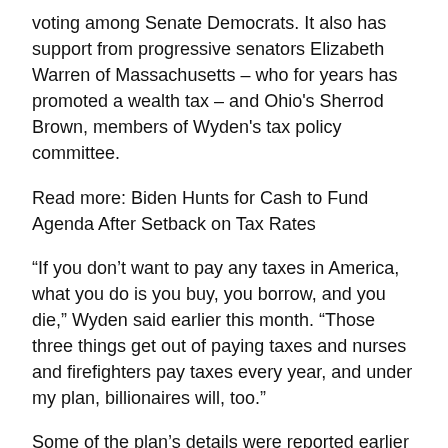voting among Senate Democrats. It also has support from progressive senators Elizabeth Warren of Massachusetts – who for years has promoted a wealth tax – and Ohio's Sherrod Brown, members of Wyden's tax policy committee.
Read more: Biden Hunts for Cash to Fund Agenda After Setback on Tax Rates
“If you don’t want to pay any taxes in America, what you do is you buy, you borrow, and you die,” Wyden said earlier this month. “Those three things get out of paying taxes and nurses and firefighters pay taxes every year, and under my plan, billionaires will, too.”
Some of the plan’s details were reported earlier by the Washington Post.